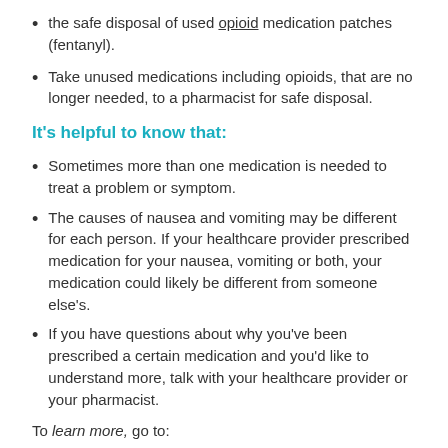the safe disposal of used opioid medication patches (fentanyl).
Take unused medications including opioids, that are no longer needed, to a pharmacist for safe disposal.
It's helpful to know that:
Sometimes more than one medication is needed to treat a problem or symptom.
The causes of nausea and vomiting may be different for each person. If your healthcare provider prescribed medication for your nausea, vomiting or both, your medication could likely be different from someone else's.
If you have questions about why you've been prescribed a certain medication and you'd like to understand more, talk with your healthcare provider or your pharmacist.
To learn more, go to: